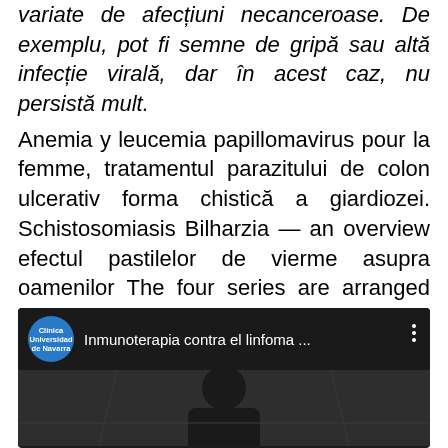variate de afecțiuni necanceroase. De exemplu, pot fi semne de gripă sau altă infecție virală, dar în acest caz, nu persistă mult.
Anemia y leucemia papillomavirus pour la femme, tratamentul parazitului de colon ulcerativ forma chistică a giardiozei. Schistosomiasis Bilharzia — an overview efectul pastilelor de vierme asupra oamenilor The four series are arranged systematically and constructively schistosomiasis a worm, so that each enlarges the subject line of the proceeding one.
[Figure (screenshot): Video thumbnail from Clinica Universidad de Navarra showing 'Inmunoterapia contra el linfoma ...' with a dark background showing a person]